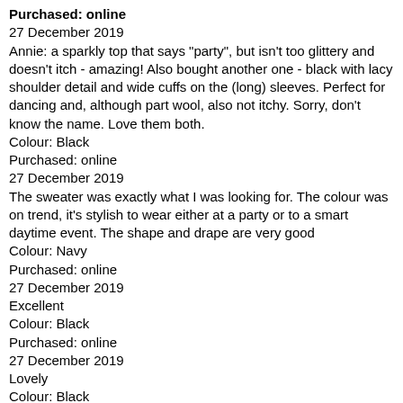Purchased: online
27 December 2019
Annie: a sparkly top that says "party", but isn't too glittery and doesn't itch - amazing! Also bought another one - black with lacy shoulder detail and wide cuffs on the (long) sleeves. Perfect for dancing and, although part wool, also not itchy. Sorry, don't know the name. Love them both.
Colour: Black
Purchased: online
27 December 2019
The sweater was exactly what I was looking for. The colour was on trend, it's stylish to wear either at a party or to a smart daytime event. The shape and drape are very good
Colour: Navy
Purchased: online
27 December 2019
Excellent
Colour: Black
Purchased: online
27 December 2019
Lovely
Colour: Black
Purchased: online
27 December 2019
Nice
Colour: Black